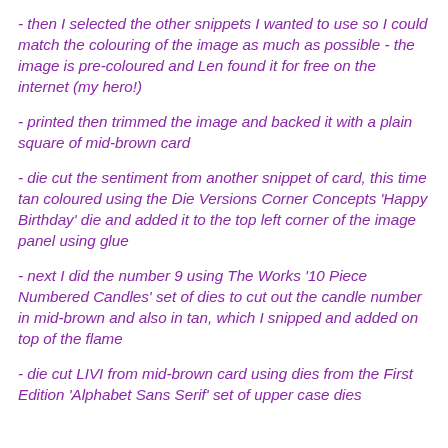- then I selected the other snippets I wanted to use so I could match the colouring of the image as much as possible - the image is pre-coloured and Len found it for free on the internet (my hero!)
- printed then trimmed the image and backed it with a plain square of mid-brown card
- die cut the sentiment from another snippet of card, this time tan coloured using the Die Versions Corner Concepts 'Happy Birthday' die and added it to the top left corner of the image panel using glue
- next I did the number 9 using The Works '10 Piece Numbered Candles' set of dies to cut out the candle number in mid-brown and also in tan, which I snipped and added on top of the flame
- die cut LIVI from mid-brown card using dies from the First Edition 'Alphabet Sans Serif' set of upper case dies